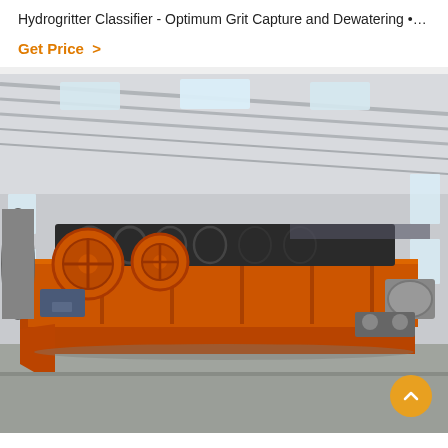Hydrogritter Classifier - Optimum Grit Capture and Dewatering •…
Get Price  >
[Figure (photo): Industrial orange Hydrogritter Classifier machine with spiral/screw conveyor mechanism inside a large grey warehouse/factory building with natural lighting from skylights and windows.]